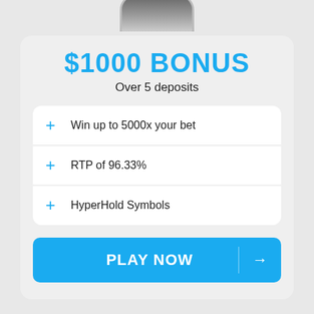[Figure (illustration): Partial circle/token visible at top of card]
$1000 BONUS
Over 5 deposits
Win up to 5000x your bet
RTP of 96.33%
HyperHold Symbols
PLAY NOW →